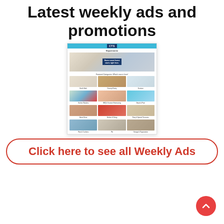Latest weekly ads and promotions
[Figure (screenshot): Screenshot of CTS weekly ad website showing a home goods promotion page with categories including Bed & Bath, Grocery Pantry, Furniture, Kitchen Wonders, BBQ & Summer Entertaining, Beach & Pool, Home Decor, Kitchen & Dining, Party & Special Occasions, Patio & Cushions, Pet, Storage & Organization]
Click here to see all Weekly Ads